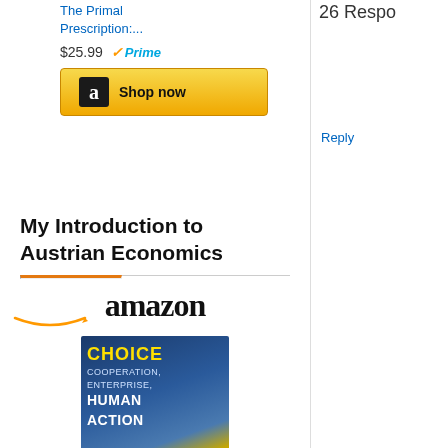The Primal Prescription:...
$25.99 Prime
[Figure (other): Amazon Shop now button]
My Introduction to Austrian Economics
[Figure (logo): Amazon logo with smile]
[Figure (photo): Book cover: Choice: Cooperation, Enterprise, and Human Action by Robert P. Murphy]
Choice: Cooperation,...
$24.95 Prime
[Figure (other): Amazon Shop now button]
26 Respo...
Reply